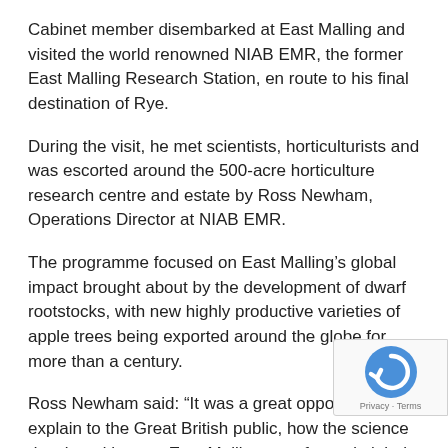Cabinet member disembarked at East Malling and visited the world renowned NIAB EMR, the former East Malling Research Station, en route to his final destination of Rye.
During the visit, he met scientists, horticulturists and was escorted around the 500-acre horticulture research centre and estate by Ross Newham, Operations Director at NIAB EMR.
The programme focused on East Malling’s global impact brought about by the development of dwarf rootstocks, with new highly productive varieties of apple trees being exported around the globe for more than a century.
Ross Newham said: “It was a great opportunity to explain to the Great British public, how the science developed here at East Malling transformed global apple production with new varieties, improved growing systems and increased yields.
“The work is still very much ongoing, and it was a real…
[Figure (logo): reCAPTCHA badge with circular arrow logo icon and Privacy · Terms text]